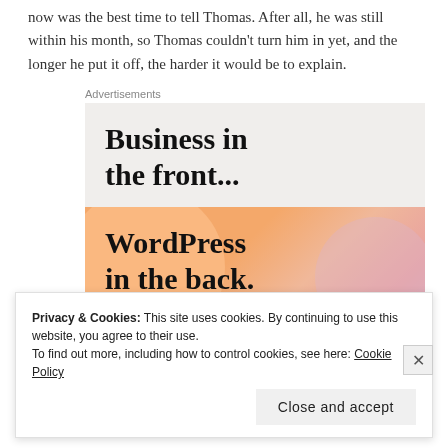now was the best time to tell Thomas. After all, he was still within his month, so Thomas couldn't turn him in yet, and the longer he put it off, the harder it would be to explain.
[Figure (illustration): Advertisement block with two sections: upper light gray section with bold text 'Business in the front...' and lower colorful gradient section (orange/pink/purple blobs) with bold text 'WordPress in the back.' with a partial logo/button visible at bottom. Labeled 'Advertisements' above.]
Privacy & Cookies: This site uses cookies. By continuing to use this website, you agree to their use.
To find out more, including how to control cookies, see here: Cookie Policy
Close and accept